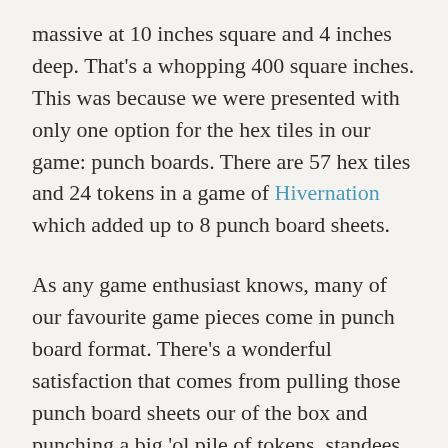massive at 10 inches square and 4 inches deep. That's a whopping 400 square inches. This was because we were presented with only one option for the hex tiles in our game: punch boards. There are 57 hex tiles and 24 tokens in a game of Hivernation which added up to 8 punch board sheets.
As any game enthusiast knows, many of our favourite game pieces come in punch board format. There's a wonderful satisfaction that comes from pulling those punch board sheets our of the box and punching a big 'ol pile of tokens, standees, and markers out on the table. After that, what are you left with? Oddly shaped cardboard extras that you're going to donate to the recycling bin, that's what. (Note: We recycle in most